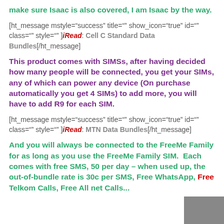make sure Isaac is also covered, I am Isaac by the way.
[ht_message mstyle="success" title="" show_icon="true" id="" class="" style="" ]iRead: Cell C Standard Data Bundles[/ht_message]
This product comes with SIMSs, after having decided how many people will be connected, you get your SIMs, any of which can power any device (On purchase automatically you get 4 SIMs) to add more, you will have to add R9 for each SIM.
[ht_message mstyle="success" title="" show_icon="true" id="" class="" style="" ]iRead: MTN Data Bundles[/ht_message]
And you will always be connected to the FreeMe Family for as long as you use the FreeMe Family SIM.  Each comes with free SMS, 50 per day – when used up, the out-of-bundle rate is 30c per SMS, Free WhatsApp, Free Telkom Calls, Free All net Calls...